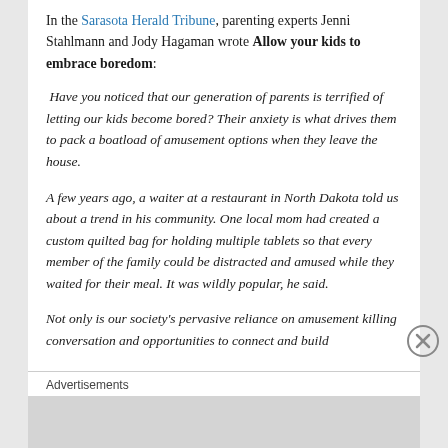In the Sarasota Herald Tribune, parenting experts Jenni Stahlmann and Jody Hagaman wrote Allow your kids to embrace boredom:
Have you noticed that our generation of parents is terrified of letting our kids become bored? Their anxiety is what drives them to pack a boatload of amusement options when they leave the house.
A few years ago, a waiter at a restaurant in North Dakota told us about a trend in his community. One local mom had created a custom quilted bag for holding multiple tablets so that every member of the family could be distracted and amused while they waited for their meal. It was wildly popular, he said.
Not only is our society's pervasive reliance on amusement killing conversation and opportunities to connect and build
Advertisements